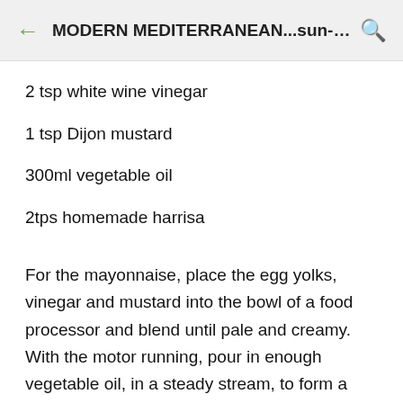MODERN MEDITERRANEAN...sun-drenched...
2 tsp white wine vinegar
1 tsp Dijon mustard
300ml vegetable oil
2tps homemade harrisa
For the mayonnaise, place the egg yolks, vinegar and mustard into the bowl of a food processor and blend until pale and creamy. With the motor running, pour in enough vegetable oil, in a steady stream, to form a thick mayonnaise. Add 1-2 spoonfuls of the harissa to the mayonnaise. Stir until well combined.